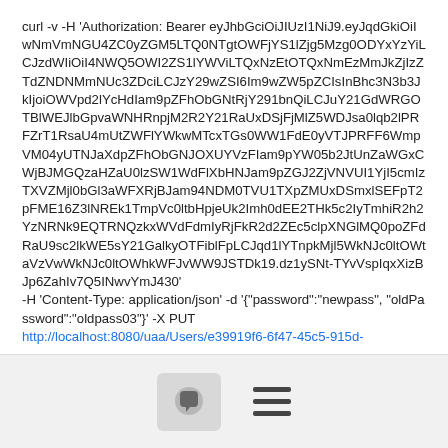curl -v -H 'Authorization: Bearer eyJhbGciOiJIUzI1NiJ9.eyJqdGkiOiIwNmVmNGU4ZC0yZGM5LTQ0NTgtOWFjYS1lZjg5Mzg0ODYxYzYiLCJzdWIiOiI4NWQ5OWI2ZS1lYWViLTQxNzEtOTQxNmEzMmJkZjIzZTdZNDNMmNUc3ZDciLCJzY29wZSI6Im9wZW5pZCIsInBhc3N3b3JkIjoiOWVpd2lYcHdIam9pZFhObGNtRjY291bnQiLCJuY21GdWRGOTBlWEJlbGpvaWNHRnpjM2R2Y21RaUxDSjFjMlZ5WDJsa0lqb2lPRFZrT1RsaU4mUtZWFlYWkwMTcxTGs0WW1FdE0yVTJPRFF6WmpVM04yUTNJaXdpZFhObGNJOXUYVzFIam9pYW05b2JtUnZaWGxCWjBJMGQzaHZaU0lzSW1WdFlXbHNJam9pZGJ2ZjVNVUI1YjI5cmIzTXVZMjl0bGl3aWFXRjBJam94NDM0TVU1TXpZMUxDSmxlSEFpT2pFME16Z3lNREk1TmpVc0ltbHpjeUk2Imh0dEE2THk5c2IyTmhiR2h2YzNRNk9EQTRNQzkxWVdFdmIyRjFkR2d2ZEc5clpXNGlMQ0poZFdRaU9sc2lkWE5sY21GalkyOTFiblFpLCJqd1lYTnpkMjl5WkNJc0ltOWtaVzVwWkNJc0ltOWhkWFJvWW9JSTDk19.dz1ySNt-TYvVspIqxXizBJp6ZahIv7Q5INwvYmJ430'
-H 'Content-Type: application/json' -d '{"password":"newpass", "oldPassword":"oldpass03"}' -X PUT
http://localhost:8080/uaa/Users/e39919f6-6f47-45c5-915d-
[Figure (other): Footer bar with a chat bubble icon button and a hamburger menu icon]